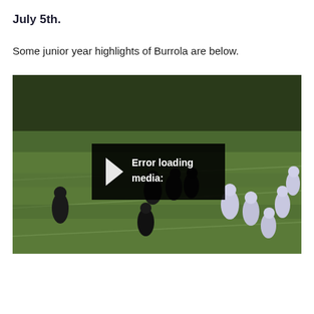July 5th.
Some junior year highlights of Burrola are below.
[Figure (screenshot): Football game video player screenshot showing a night game with players in dark and white uniforms on a grass field, with a black error overlay displaying a play button icon and the text 'Error loading media:']